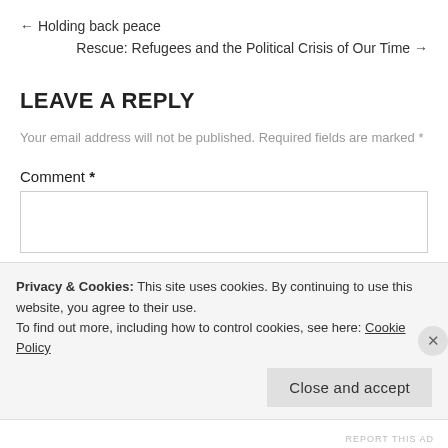← Holding back peace
Rescue: Refugees and the Political Crisis of Our Time →
LEAVE A REPLY
Your email address will not be published. Required fields are marked *
Comment *
Privacy & Cookies: This site uses cookies. By continuing to use this website, you agree to their use.
To find out more, including how to control cookies, see here: Cookie Policy
Close and accept
REPORT THIS AD